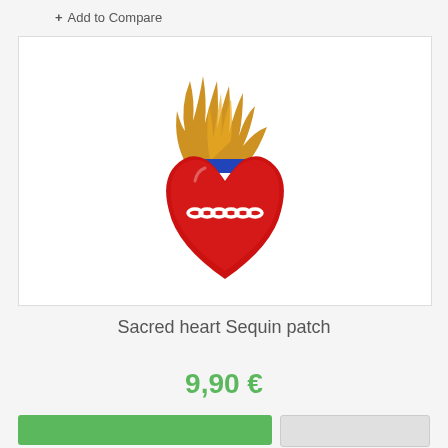+ Add to Compare
[Figure (photo): Sacred heart sequin patch — a decorative embroidered/sequined patch featuring a red glittery heart with a white chain motif across the middle, a blue band at the top, and golden glittery flames rising above it.]
Sacred heart Sequin patch
9,90 €